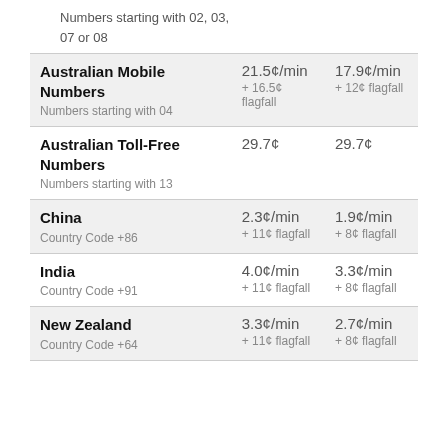Numbers starting with 02, 03, 07 or 08
|  | Column A | Column B |
| --- | --- | --- |
| Australian Mobile Numbers
Numbers starting with 04 | 21.5¢/min
+ 16.5¢ flagfall | 17.9¢/min
+ 12¢ flagfall |
| Australian Toll-Free Numbers
Numbers starting with 13 | 29.7¢ | 29.7¢ |
| China
Country Code +86 | 2.3¢/min
+ 11¢ flagfall | 1.9¢/min
+ 8¢ flagfall |
| India
Country Code +91 | 4.0¢/min
+ 11¢ flagfall | 3.3¢/min
+ 8¢ flagfall |
| New Zealand
Country Code +64 | 3.3¢/min
+ 11¢ flagfall | 2.7¢/min
+ 8¢ flagfall |